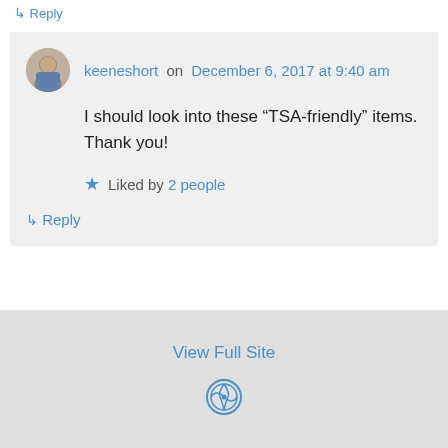↳ Reply
keeneshort on December 6, 2017 at 9:40 am
I should look into these “TSA-friendly” items. Thank you!
Liked by 2 people
↳ Reply
View Full Site